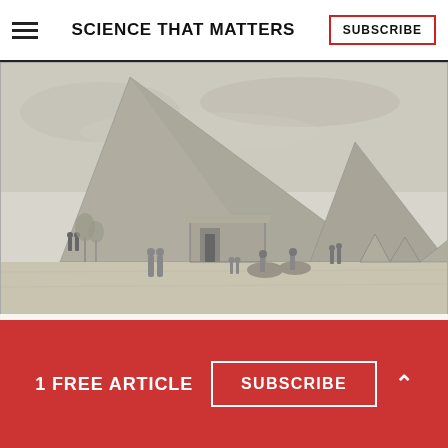SCIENCE THAT MATTERS
[Figure (illustration): Black and white engraving of the Nubian Pyramids of Meroe with camels, riders, and tents in the foreground. Caption reads: VUE PARTICULIERE D'UNE CERTAIN PYRAMIDE DE DJOURBA DES LIOUX ATTILS]
This painting shows the Nubian Pyramids of Meroë, which were destroyed by treasure hunters in the
1 FREE ARTICLE
SUBSCRIBE